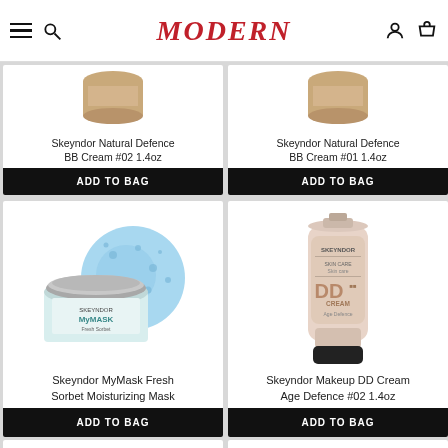MODERN
[Figure (photo): Skeyndor Natural Defence BB Cream #02 1.4oz product image (partial top)]
Skeyndor Natural Defence BB Cream #02 1.4oz
ADD TO BAG
[Figure (photo): Skeyndor Natural Defence BB Cream #01 1.4oz product image (partial top)]
Skeyndor Natural Defence BB Cream #01 1.4oz
ADD TO BAG
[Figure (photo): Skeyndor MyMask Fresh Sorbet Moisturizing Mask product image with blue sponge]
Skeyndor MyMask Fresh Sorbet Moisturizing Mask
ADD TO BAG
[Figure (photo): Skeyndor Makeup DD Cream Age Defence #02 1.4oz product image - tube packaging]
Skeyndor Makeup DD Cream Age Defence #02 1.4oz
ADD TO BAG